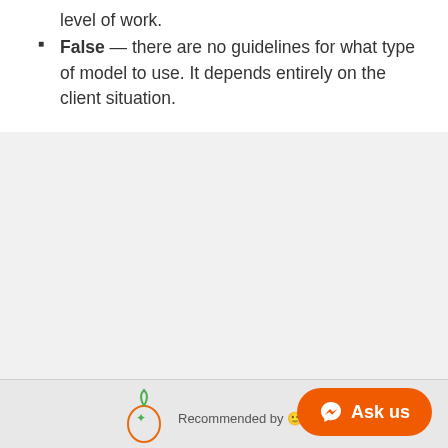level of work.
False — there are no guidelines for what type of model to use. It depends entirely on the client situation.
[Figure (other): Bottom UI bar with pear logo, 'Recommended by' text, messenger icon, and orange 'Ask us' button]